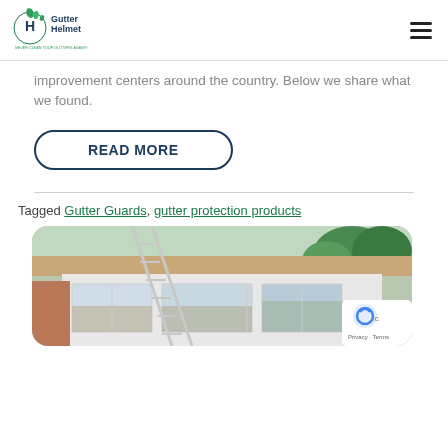Gutter Helmet – NEVER CLEAN YOUR GUTTERS AGAIN®
improvement centers around the country. Below we share what we found.
READ MORE
Tagged Gutter Guards, gutter protection products
[Figure (photo): Photo of a house exterior with a ladder leaning against it, showing windows and a rooftop with trees in the background. A reCAPTCHA badge is overlaid in the bottom right corner.]